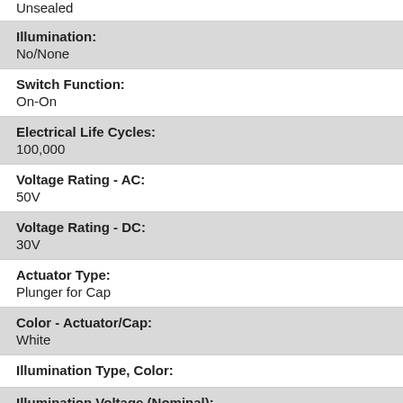Unsealed
Illumination: No/None
Switch Function: On-On
Electrical Life Cycles: 100,000
Voltage Rating - AC: 50V
Voltage Rating - DC: 30V
Actuator Type: Plunger for Cap
Color - Actuator/Cap: White
Illumination Type, Color:
Illumination Voltage (Nominal):
Termination Style: Thru-hole, Right Angle
Additional Features: